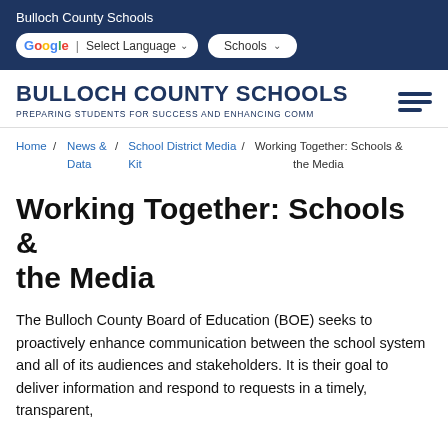Bulloch County Schools
BULLOCH COUNTY SCHOOLS
PREPARING STUDENTS FOR SUCCESS AND ENHANCING COMM
Home / News & Data / School District Media Kit / Working Together: Schools & the Media
Working Together: Schools & the Media
The Bulloch County Board of Education (BOE) seeks to proactively enhance communication between the school system and all of its audiences and stakeholders. It is their goal to deliver information and respond to requests in a timely, transparent,